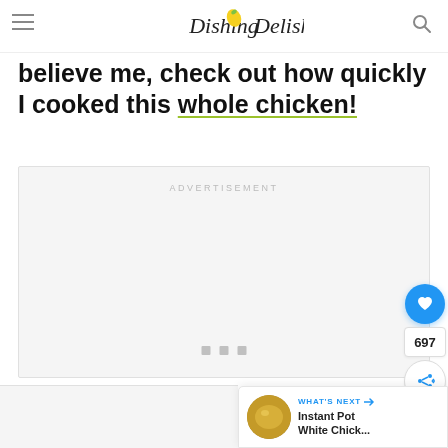Dishing Delish
believe me, check out how quickly I cooked this whole chicken!
[Figure (other): Advertisement placeholder box with centered 'ADVERTISEMENT' label and three small square dots at bottom center]
[Figure (other): Heart/like button (blue circle with heart icon), count '697', and share button on right sidebar]
[Figure (other): What's Next card showing thumbnail image and text 'Instant Pot White Chick...' with arrow]